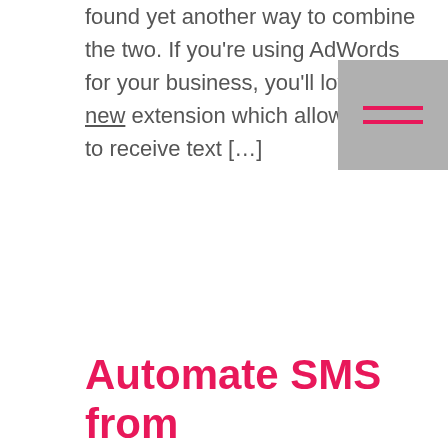found yet another way to combine the two. If you're using AdWords for your business, you'll love this new extension which allows you to receive text […]
Automate SMS from